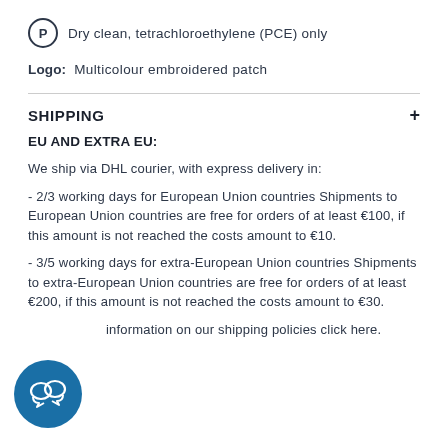Dry clean, tetrachloroethylene (PCE) only
Logo: Multicolour embroidered patch
SHIPPING
EU AND EXTRA EU:
We ship via DHL courier, with express delivery in:
- 2/3 working days for European Union countries Shipments to European Union countries are free for orders of at least €100, if this amount is not reached the costs amount to €10.
- 3/5 working days for extra-European Union countries Shipments to extra-European Union countries are free for orders of at least €200, if this amount is not reached the costs amount to €30.
For more information on our shipping policies click here.
[Figure (illustration): Chat bubble / customer support icon in a dark blue circle]